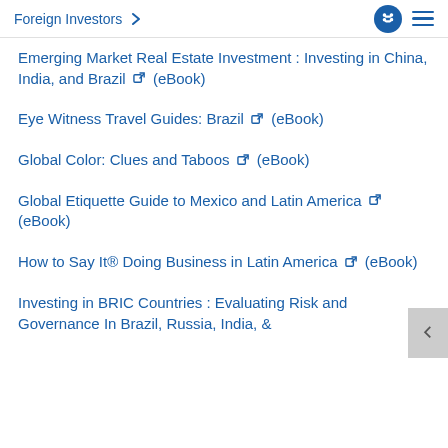Foreign Investors
Emerging Market Real Estate Investment : Investing in China, India, and Brazil (eBook)
Eye Witness Travel Guides: Brazil (eBook)
Global Color: Clues and Taboos (eBook)
Global Etiquette Guide to Mexico and Latin America (eBook)
How to Say It® Doing Business in Latin America (eBook)
Investing in BRIC Countries : Evaluating Risk and Governance In Brazil, Russia, India, &